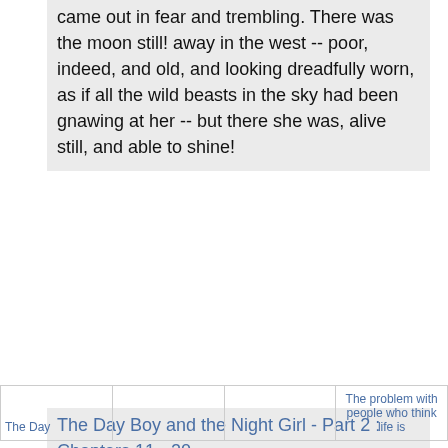came out in fear and trembling. There was the moon still! away in the west -- poor, indeed, and old, and looking dreadfully worn, as if all the wild beasts in the sky had been gnawing at her -- but there she was, alive still, and able to shine!
The Day Boy and the Night Girl - Part 2 : Chapters 11 - 20
[Figure (infographic): Social sharing icons bar with Twitter, Facebook, Delicious, Myspace, StumbleUpon, and Reddit icons, plus 'I like it!' text link]
|  |  |  | The problem with people who think life is |
| --- | --- | --- | --- |
| The Day |  |  |  |